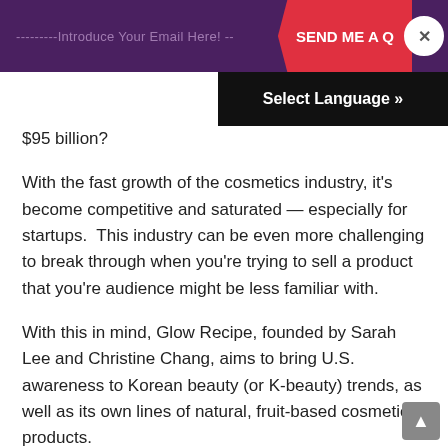---------Introduce Your Email Here! -- SEND ME A Q ✕
Select Language »
$95 billion?
With the fast growth of the cosmetics industry, it's become competitive and saturated — especially for startups.  This industry can be even more challenging to break through when you're trying to sell a product that you're audience might be less familiar with.
With this in mind, Glow Recipe, founded by Sarah Lee and Christine Chang, aims to bring U.S. awareness to Korean beauty (or K-beauty) trends, as well as its own lines of natural, fruit-based cosmetic products.
But, before Glow Recipe sold thousands of cosmetic products and built an audience of more than 1 million social media